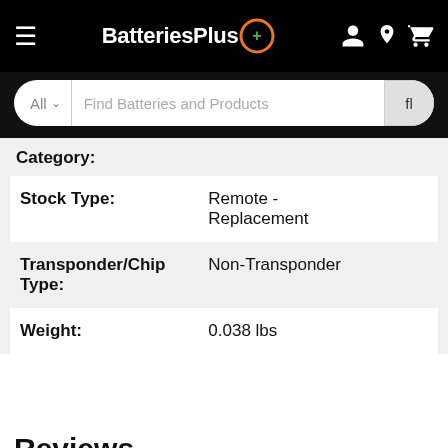BatteriesPlus
All  Find Batteries and Products
Category:
| Property | Value |
| --- | --- |
| Stock Type: | Remote - Replacement |
| Transponder/Chip Type: | Non-Transponder |
| Weight: | 0.038 lbs |
Reviews